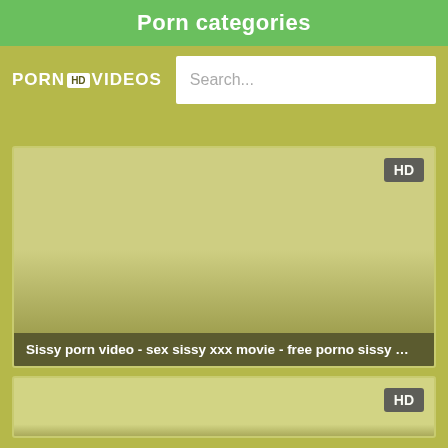Porn categories
[Figure (screenshot): Website logo: PORN HD VIDEOS with HD badge in white box]
Search...
[Figure (screenshot): Video thumbnail with HD badge, olive/khaki colored placeholder image]
Sissy porn video - sex sissy xxx movie - free porno sissy ...
[Figure (screenshot): Second video thumbnail with HD badge, partial view at bottom of page]